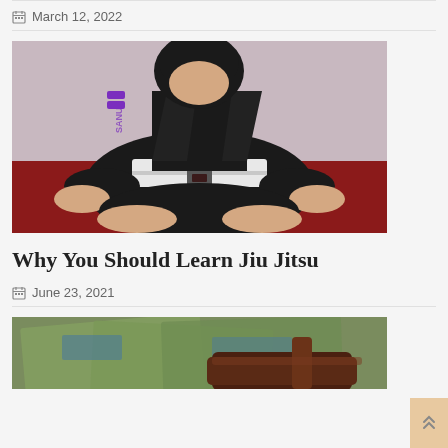March 12, 2022
[Figure (photo): Child in black BJJ gi with white belt and purple accents, sitting cross-legged on a red mat in a meditative pose]
Why You Should Learn Jiu Jitsu
June 23, 2021
[Figure (photo): Close-up of a wooden gavel resting on US dollar bills, suggesting legal or financial theme]